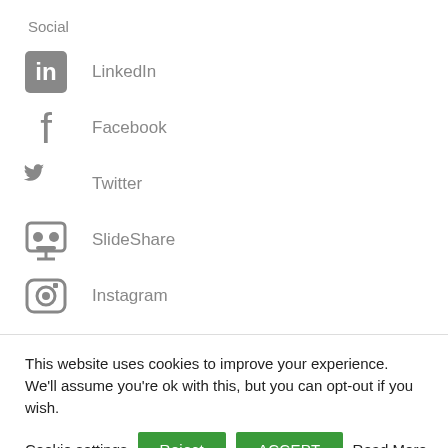Social
LinkedIn
Facebook
Twitter
SlideShare
Instagram
This website uses cookies to improve your experience. We'll assume you're ok with this, but you can opt-out if you wish.
Cookie settings  Reject  ACCEPT  Read More